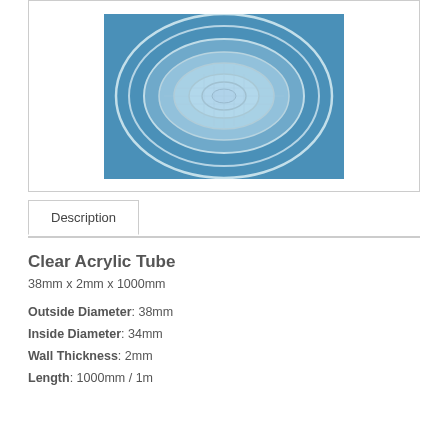[Figure (photo): Photo of a clear acrylic tube viewed from the end, showing concentric circular rings against a blue background]
Description
Clear Acrylic Tube
38mm x 2mm x 1000mm
Outside Diameter: 38mm
Inside Diameter: 34mm
Wall Thickness: 2mm
Length: 1000mm / 1m